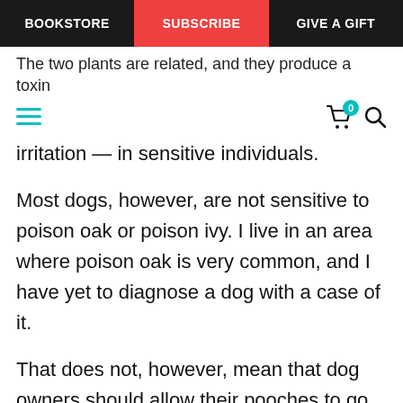BOOKSTORE | SUBSCRIBE | GIVE A GIFT
The two plants are related, and they produce a toxin
irritation — in sensitive individuals.
Most dogs, however, are not sensitive to poison oak or poison ivy. I live in an area where poison oak is very common, and I have yet to diagnose a dog with a case of it.
That does not, however, mean that dog owners should allow their pooches to go off leash in areas where the toxic plants grow. The toxic plant oils can adhere to pets' skin, and then transfer to yours.